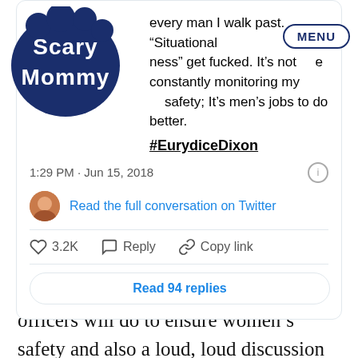[Figure (screenshot): Screenshot of a tweet card embedded on Scary Mommy website. Tweet text: 'every man I walk past. "Situational ness" get fucked. It’s not e constantly monitoring my wn safety; It’s men’s jobs to do better. #EurydiceDixon' posted at 1:29 PM · Jun 15, 2018. Includes a link to Read the full conversation on Twitter, heart icon with 3.2K, Reply, Copy link, and Read 94 replies button. Scary Mommy logo in top left and MENU button top right.]
Hopefully, statements after tragedies like this can focus on what police officers will do to ensure women’s safety and also a loud, loud discussion of all the very serious repercussions